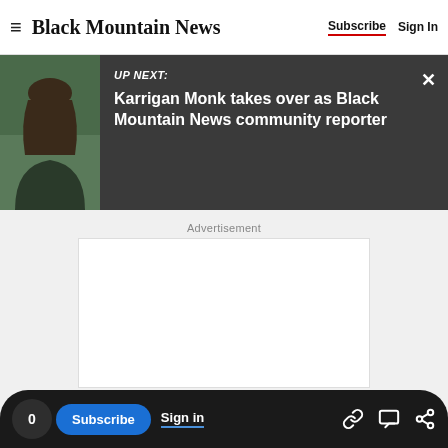Black Mountain News — Subscribe | Sign In
[Figure (screenshot): UP NEXT banner showing a photo of a woman with dark hair and glasses wearing a dark top, with headline: Karrigan Monk takes over as Black Mountain News community reporter]
Advertisement
[Figure (other): Empty white advertisement box]
0 | Subscribe | Sign in | link icon | comment icon | share icon